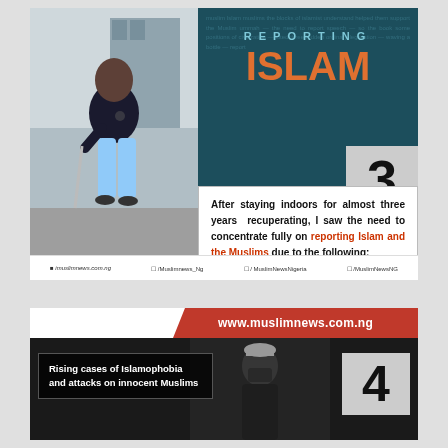[Figure (photo): Top card showing a man standing outdoors with a walking stick, wearing a dark polo shirt and light blue pants with sandals, in front of a building. Overlay shows 'REPORTING ISLAM' header text with teal/dark background, and a large number '3' in a gray box.]
After staying indoors for almost three years recuperating, I saw the need to concentrate fully on reporting Islam and the Muslims due to the following:
imuslimnews.com.ng   /Muslimnews_Ng   / MuslimNewsNigeria   /MuslimNewsNG
[Figure (infographic): Bottom card with red banner showing www.muslimnews.com.ng URL, dark background section with text 'Rising cases of Islamophobia and attacks on innocent Muslims' and a large number '4' in gray box, with a partially visible person in the background.]